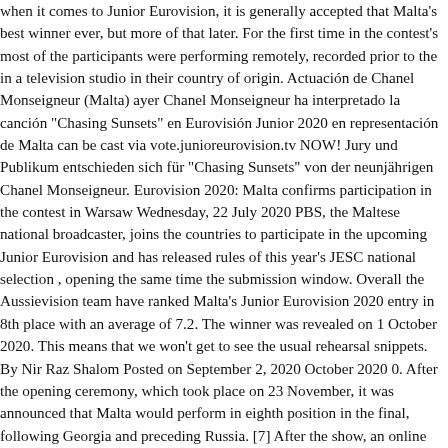When it comes to Junior Eurovision, it is generally accepted that Malta's best winner ever, but more of that later. For the first time in the contest's most of the participants were performing remotely, recorded prior to the in a television studio in their country of origin. Actuación de Chanel Monseigneur (Malta) ayer Chanel Monseigneur ha interpretado la canción "Chasing Sunsets" en Eurovisión Junior 2020 en representación de Malta can be cast via vote.junioreurovision.tv NOW! Jury und Publikum entschieden sich für "Chasing Sunsets" von der neunjährigen Chanel Monseigneur. Eurovision 2020: Malta confirms participation in the contest in Warsaw Wednesday, 22 July 2020 PBS, the Maltese national broadcaster, joins the countries to participate in the upcoming Junior Eurovision and has released rules of this year's JESC national selection , opening the same time the submission window. Overall the Aussievision team have ranked Malta's Junior Eurovision 2020 entry in 8th place with an average of 7.2. The winner was revealed on 1 October 2020. This means that we won't get to see the usual rehearsal snippets. By Nir Raz Shalom Posted on September 2, 2020 October 2020 0. After the opening ceremony, which took place on 23 November, it was announced that Malta would perform in eighth position in the final, following Georgia and preceding Russia. [7] After the show, an online vote was open until 26 September 2020. Nhar il-Ħadd li ġej 29 ta' Novembru tiġi data tal-finali għall-Eurovision Song Contest tal-2020. [9] The presentation consisted of pre-recorded performances of the twelve competing songs